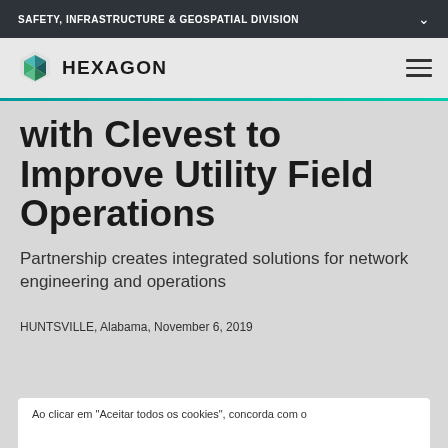SAFETY, INFRASTRUCTURE & GEOSPATIAL DIVISION
[Figure (logo): Hexagon logo with blue and green geometric diamond shape and wordmark HEXAGON]
with Clevest to Improve Utility Field Operations
Partnership creates integrated solutions for network engineering and operations
HUNTSVILLE, Alabama, November 6, 2019
Ao clicar em "Aceitar todos os cookies", concorda com o